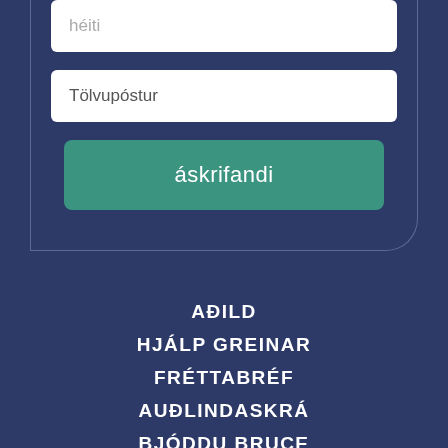héiti
Tölvupóstur
áskrifandi
AÐILD
HJÁLP GREINAR
FRÉTTABRÉF
AUÐLINDASKRÁ
BJÓDDU BRUCE
VITNISBURÐUR